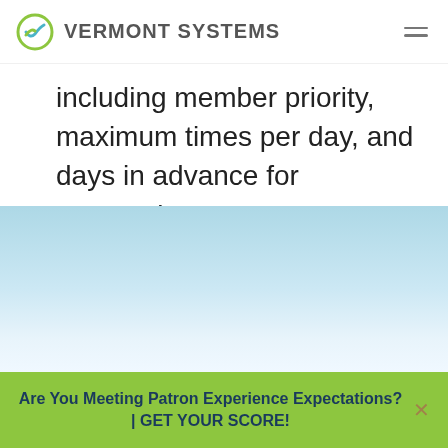Vermont Systems
including member priority, maximum times per day, and days in advance for reservations..
[Figure (photo): Light blue gradient background section, sky-like appearance]
Are You Meeting Patron Experience Expectations? | GET YOUR SCORE!